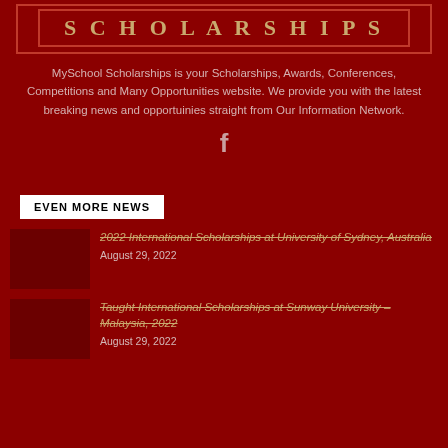[Figure (logo): MySchool Scholarships logo banner with gold text on dark red background]
MySchool Scholarships is your Scholarships, Awards, Conferences, Competitions and Many Opportunities website. We provide you with the latest breaking news and opportuinies straight from Our Information Network.
[Figure (illustration): Facebook icon (f)]
EVEN MORE NEWS
2022 International Scholarships at University of Sydney, Australia
August 29, 2022
Taught International Scholarships at Sunway University – Malaysia, 2022
August 29, 2022